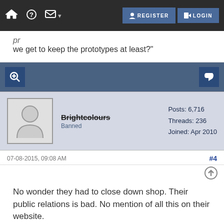Home | Help | Chat | REGISTER | LOGIN
product go away from, as someone said at first, 'can we get to keep the prototypes at least?'
No wonder they had to close down shop. Their public relations is bad. No mention of all this on their website.

http://www.schneiderkreuznach.com
Brightcolours
Banned
Posts: 6,716
Threads: 236
Joined: Apr 2010
07-08-2015, 09:08 AM
#4